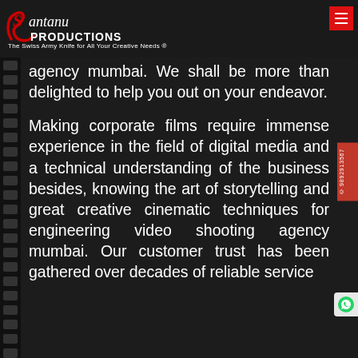[Figure (logo): Santanu Productions logo with cursive Santanu text in red/white and bold PRODUCTIONS text, tagline: The Swiss Army Knife for All Your Creative Needs ®]
agency mumbai. We shall be more than delighted to help you out on your endeavor.
Making corporate films require immense experience in the field of digital media and a technical understanding of the business besides, knowing the art of storytelling and great creative cinematic techniques for engineering video shooting agency mumbai. Our customer trust has been gathered over decades of reliable service